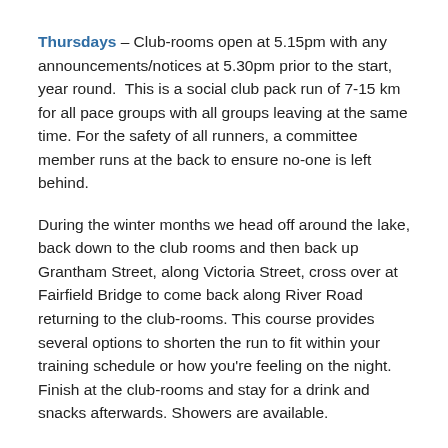Thursdays – Club-rooms open at 5.15pm with any announcements/notices at 5.30pm prior to the start, year round.  This is a social club pack run of 7-15 km for all pace groups with all groups leaving at the same time. For the safety of all runners, a committee member runs at the back to ensure no-one is left behind.
During the winter months we head off around the lake, back down to the club rooms and then back up Grantham Street, along Victoria Street, cross over at Fairfield Bridge to come back along River Road returning to the club-rooms. This course provides several options to shorten the run to fit within your training schedule or how you're feeling on the night.  Finish at the club-rooms and stay for a drink and snacks afterwards. Showers are available.
If you haven't run this before please make yourself known to other members to ensure that we match you to a runner of a similar pace. We suggest you contact a committee member via the website or Facebook to let us know if you are planning to attend for the first time, for more information.